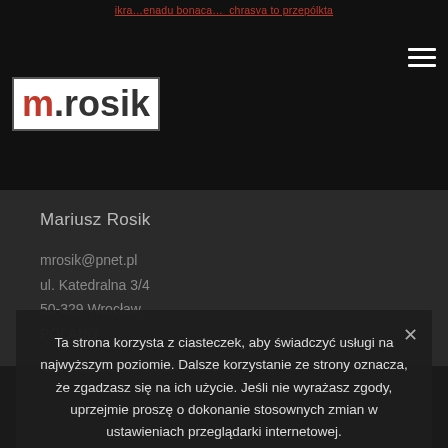ikra…enadu bonaca… chrasva to przepólkta
[Figure (logo): m.rosik logo — red 'm.' and dark 'rosik' text in white box with dark border]
Mariusz Rosik
mrosik@pnet.pl
ul. Katedralna 3/4
50-329 Wrocław
POLAND
Ta strona korzysta z ciasteczek, aby świadczyć usługi na najwyższym poziomie. Dalsze korzystanie ze strony oznacza, że zgadzasz się na ich użycie. Jeśli nie wyrażasz zgody, uprzejmie proszę o dokonanie stosownych zmian w ustawieniach przeglądarki internetowej.
ZGODA
POLITYKA PRYWATNOŚCI